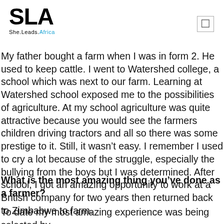SLA She.Leads.Africa
My father bought a farm when I was in form 2. He used to keep cattle. I went to Watershed college, a school which was next to our farm. Learning at Watershed school exposed me to the possibilities of agriculture. At my school agriculture was quite attractive because you would see the farmers children driving tractors and all so there was some prestige to it. Still, it wasn't easy. I remember I used to cry a lot because of the struggle, especially the bullying from the boys but I was determined. After school, I got an amazing opportunity to work at a British company for two years then returned back to Zimbabwe to farm.
What is the most amazing thing you've done as a farmer?
To date my most amazing experience was being selected by